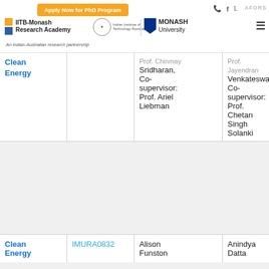[Figure (logo): IITB-Monash Research Academy website header with Apply Now for PhD Program button, phone/social icons, AFORS text, IITB-Monash logo, IIT Bombay seal, Monash University logo, hamburger menu, and tagline 'An Indian-Australian research partnership']
| Category | ID | Supervisor | Co-supervisor |
| --- | --- | --- | --- |
| Clean Energy | (truncated) | Prof. Chinmay Sridharan, Co-supervisor: Prof. Ariel Liebman | Prof. Jayendran Venkateswaran, Co-supervisor: Prof. Chetan Singh Solanki |
| Clean Energy | IMURA0832 | Alison Funston | Anindya Datta |